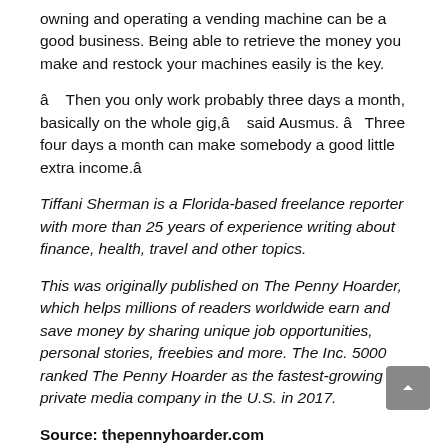owning and operating a vending machine can be a good business. Being able to retrieve the money you make and restock your machines easily is the key.
â   Then you only work probably three days a month, basically on the whole gig,â    said Ausmus. â   Three four days a month can make somebody a good little extra income.â
Tiffani Sherman is a Florida-based freelance reporter with more than 25 years of experience writing about finance, health, travel and other topics.
This was originally published on The Penny Hoarder, which helps millions of readers worldwide earn and save money by sharing unique job opportunities, personal stories, freebies and more. The Inc. 5000 ranked The Penny Hoarder as the fastest-growing private media company in the U.S. in 2017.
Source: thepennyhoarder.com